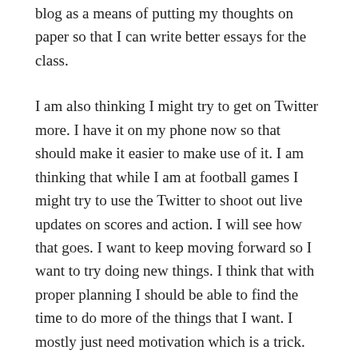blog as a means of putting my thoughts on paper so that I can write better essays for the class.
I am also thinking I might try to get on Twitter more. I have it on my phone now so that should make it easier to make use of it. I am thinking that while I am at football games I might try to use the Twitter to shoot out live updates on scores and action. I will see how that goes. I want to keep moving forward so I want to try doing new things. I think that with proper planning I should be able to find the time to do more of the things that I want. I mostly just need motivation which is a trick. The truth is I am never satisfied with what I am doing, I always want to be doing more. But there is nothing wrong with that, staying put can be a bad thing if you do it for too long.
The good news of all this is, I will be writing more. Also I am one step closer to finishing my degree, I only have 2 semesters to go in order to graduate so I should be done